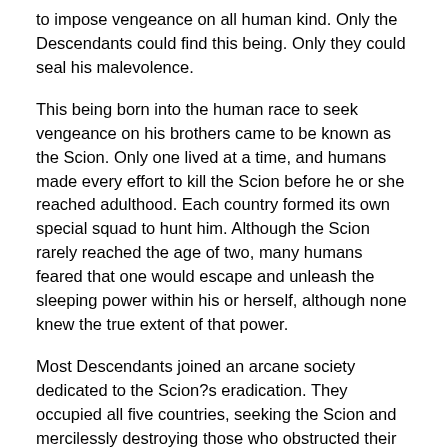to impose vengeance on all human kind. Only the Descendants could find this being. Only they could seal his malevolence.
This being born into the human race to seek vengeance on his brothers came to be known as the Scion. Only one lived at a time, and humans made every effort to kill the Scion before he or she reached adulthood. Each country formed its own special squad to hunt him. Although the Scion rarely reached the age of two, many humans feared that one would escape and unleash the sleeping power within his or herself, although none knew the true extent of that power.
Most Descendants joined an arcane society dedicated to the Scion?s eradication. They occupied all five countries, seeking the Scion and mercilessly destroying those who obstructed their path.
Humans easily forgot the truth that lay hidden in Seio?s legend. Truth is nothing more than individual perception within an ill-defined reality. Time passed. Many humans still believed in slaying the Scion. Some openly objected to killing a child based only on an ancient augury, and a few were merely apathetic. The